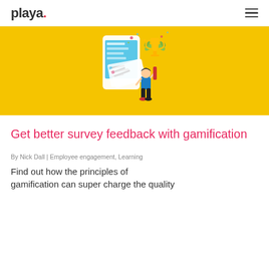playa.
[Figure (illustration): Yellow background illustration showing a large smartphone with checklist/survey screens fanning out, a person reaching up toward a trophy cup with laurel wreath and golden cup icon, confetti dots scattered around — a gamification and survey theme.]
Get better survey feedback with gamification
By Nick Dall | Employee engagement, Learning
Find out how the principles of gamification can super charge the quality